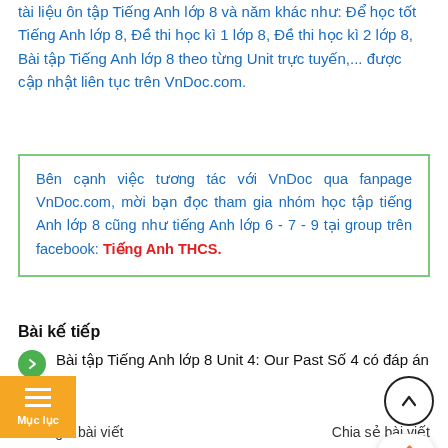tài liệu ôn tập Tiếng Anh lớp 8 và năm khác như: Để học tốt Tiếng Anh lớp 8, Đề thi học kì 1 lớp 8, Đề thi học kì 2 lớp 8, Bài tập Tiếng Anh lớp 8 theo từng Unit trực tuyến,... được cập nhật liên tục trên VnDoc.com.
Bên cạnh việc tương tác với VnDoc qua fanpage VnDoc.com, mời bạn đọc tham gia nhóm học tập tiếng Anh lớp 8 cũng như tiếng Anh lớp 6 - 7 - 9 tại group trên facebook: Tiếng Anh THCS.
Bài kế tiếp
Bài tập Tiếng Anh lớp 8 Unit 4: Our Past Số 4 có đáp án
Bài trước
Bài tập Tiếng Anh lớp 8 Unit 4: Our Pas...
Đánh giá bài viết   Chia sẻ bài viết